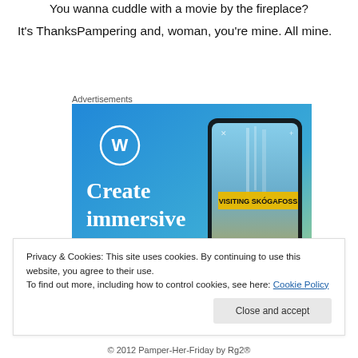You wanna cuddle with a movie by the fireplace?
It’s ThanksPampering and, woman, you’re mine. All mine.
Advertisements
[Figure (illustration): WordPress advertisement showing a phone with 'VISITING SKÓGAFOSS' and text 'Create immersive stories.' on a blue-green gradient background with WordPress logo]
Privacy & Cookies: This site uses cookies. By continuing to use this website, you agree to their use.
To find out more, including how to control cookies, see here: Cookie Policy
© 2012 Pamper-Her-Friday by Rg2®